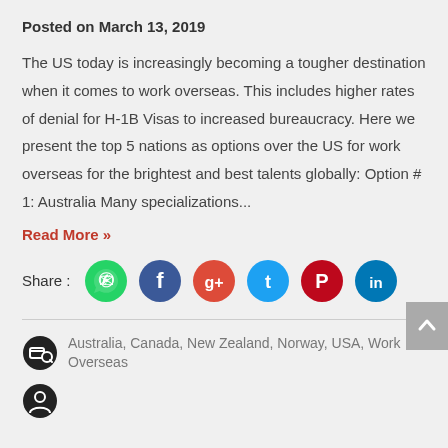Posted on March 13, 2019
The US today is increasingly becoming a tougher destination when it comes to work overseas. This includes higher rates of denial for H-1B Visas to increased bureaucracy. Here we present the top 5 nations as options over the US for work overseas for the brightest and best talents globally: Option # 1: Australia Many specializations...
Read More »
[Figure (infographic): Share row with social media icons: WhatsApp (green), Facebook (dark blue), Google+ (red-orange), Twitter (light blue), Pinterest (dark red), LinkedIn (blue)]
Australia, Canada, New Zealand, Norway, USA, Work Overseas